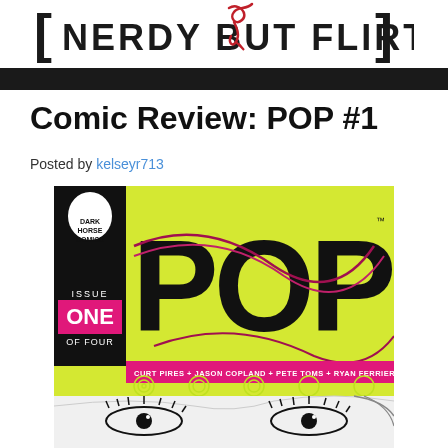[NERDY BUT FLIRTY]
Comic Review: POP #1
Posted by kelseyr713
[Figure (illustration): Cover of POP #1 comic book published by Dark Horse Comics. Issue One of Four. Yellow-green background with large black POP letters. Credits: Curt Pires + Jason Copland + Pete Toms + Ryan Ferrier. Bottom portion shows illustrated female eyes.]